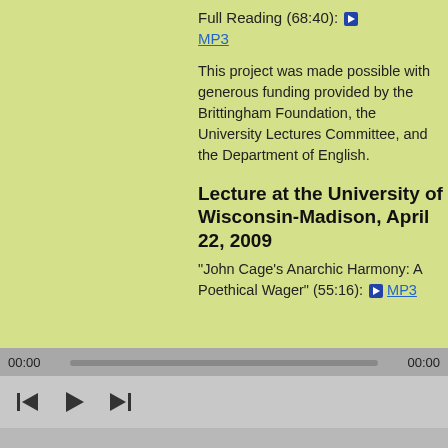Full Reading (68:40): ▶ MP3
This project was made possible with generous funding provided by the Brittingham Foundation, the University Lectures Committee, and the Department of English.
Lecture at the University of Wisconsin-Madison, April 22, 2009
"John Cage's Anarchic Harmony: A Poethical Wager" (55:16): ▶ MP3
00:00  00:00